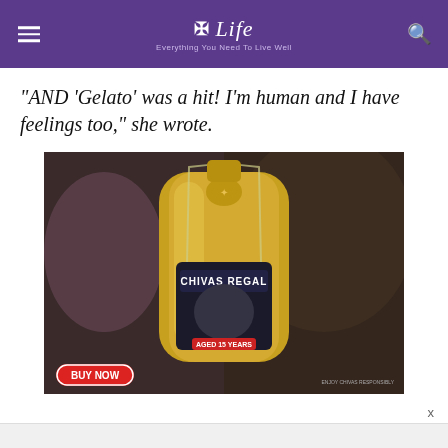Life — Everything You Need To Live Well
“AND ‘Gelato’ was a hit! I’m human and I have feelings too,” she wrote.
[Figure (photo): A Chivas Regal aged 15 years whisky bottle in a gold bottle with label visible, held by someone in a dark jacket. An advertisement overlay shows a red 'BUY NOW' button at the bottom left and 'ENJOY CHIVAS RESPONSIBLY' text at the bottom right.]